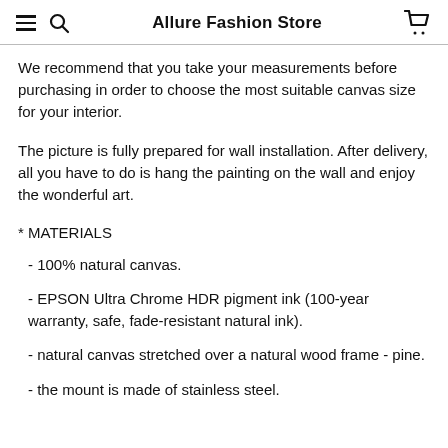Allure Fashion Store
We recommend that you take your measurements before purchasing in order to choose the most suitable canvas size for your interior.
The picture is fully prepared for wall installation. After delivery, all you have to do is hang the painting on the wall and enjoy the wonderful art.
* MATERIALS
- 100% natural canvas.
- EPSON Ultra Chrome HDR pigment ink (100-year warranty, safe, fade-resistant natural ink).
- natural canvas stretched over a natural wood frame - pine.
- the mount is made of stainless steel.